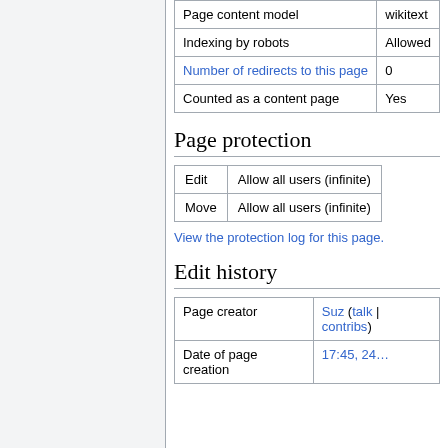|  |  |
| --- | --- |
| Page content model | wikitext |
| Indexing by robots | Allowed |
| Number of redirects to this page | 0 |
| Counted as a content page | Yes |
Page protection
| Edit | Allow all users (infinite) |
| Move | Allow all users (infinite) |
View the protection log for this page.
Edit history
| Page creator | Suz (talk | contribs) |
| Date of page creation | 17:45, 24… |